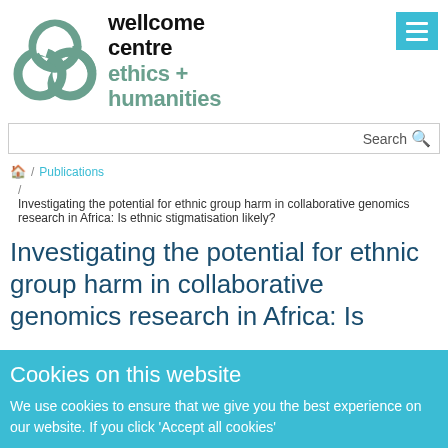[Figure (logo): Wellcome Centre Ethics + Humanities logo with interlinked circles in sage green and bold text]
Search
🏠 / Publications
/ Investigating the potential for ethnic group harm in collaborative genomics research in Africa: Is ethnic stigmatisation likely?
Investigating the potential for ethnic group harm in collaborative genomics research in Africa: Is
Cookies on this website
We use cookies to ensure that we give you the best experience on our website. If you click 'Accept all cookies'